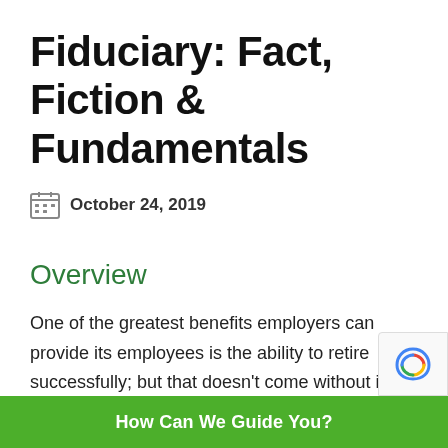Fiduciary: Fact, Fiction & Fundamentals
October 24, 2019
Overview
One of the greatest benefits employers can provide its employees is the ability to retire successfully; but that doesn't come without its challenges. You see, in delivering the benefit of a retirement plan, employers are a fiduciary of the plan both in regard to the a...
How Can We Guide You?